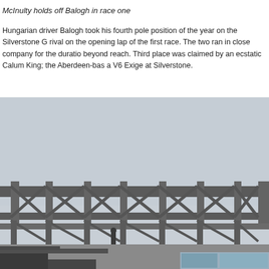McInulty holds off Balogh in race one
Hungarian driver Balogh took his fourth pole position of the year on the Silverstone G rival on the opening lap of the first race. The two ran in close company for the duratio beyond reach. Third place was claimed by an ecstatic Calum King; the Aberdeen-bas a V6 Exige at Silverstone.
[Figure (photo): Photograph of a large steel gantry/bridge structure at a motorsport circuit (Silverstone), with a light grey overcast sky. A person is visible standing at the base of the structure. Advertising hoardings are visible in the lower right.]